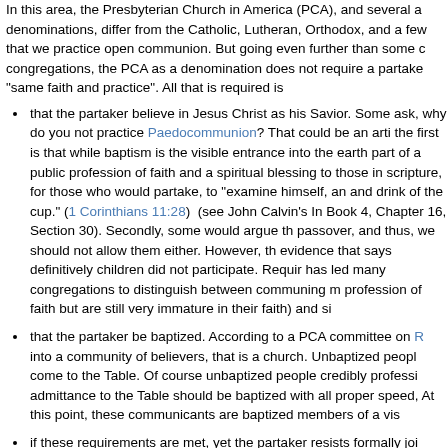In this area, the Presbyterian Church in America (PCA), and several a denominations, differ from the Catholic, Lutheran, Orthodox, and a few that we practice open communion. But going even further than some c congregations, the PCA as a denomination does not require a partake "same faith and practice". All that is required is
that the partaker believe in Jesus Christ as his Savior. Some ask, why do you not practice Paedocommunion? That could be an arti the first is that while baptism is the visible entrance into the earth part of a public profession of faith and a spiritual blessing to those in scripture, for those who would partake, to "examine himself, an and drink of the cup." (1 Corinthians 11:28) (see John Calvin's In Book 4, Chapter 16, Section 30). Secondly, some would argue th passover, and thus, we should not allow them either. However, th evidence that says definitively children did not participate. Requir has led many congregations to distinguish between communing m profession of faith but are still very immature in their faith) and si
that the partaker be baptized. According to a PCA committee on R into a community of believers, that is a church. Unbaptized peopl come to the Table. Of course unbaptized people credibly professi admittance to the Table should be baptized with all proper speed, At this point, these communicants are baptized members of a vis
if these requirements are met, yet the partaker resists formally joi